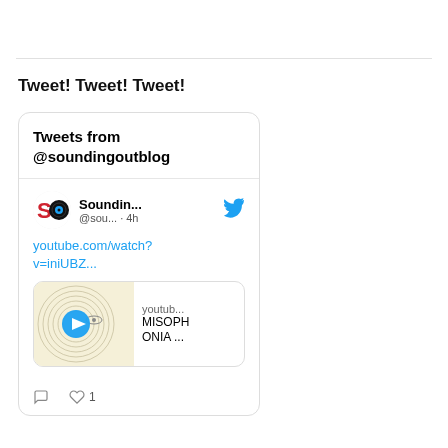Tweet! Tweet! Tweet!
[Figure (screenshot): Embedded Twitter widget showing tweets from @soundingoutblog. Contains a tweet with a YouTube link (youtube.com/watch?v=iniUBZ...) and a video card thumbnail with title 'MISOPHONIA ...' from youtub... with like count of 1.]